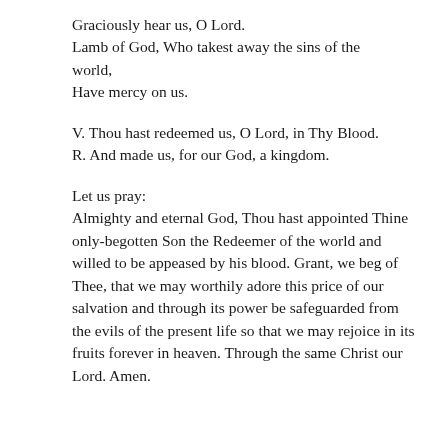Graciously hear us, O Lord.
Lamb of God, Who takest away the sins of the world,
Have mercy on us.
V. Thou hast redeemed us, O Lord, in Thy Blood.
R. And made us, for our God, a kingdom.
Let us pray:
Almighty and eternal God, Thou hast appointed Thine only-begotten Son the Redeemer of the world and willed to be appeased by his blood. Grant, we beg of Thee, that we may worthily adore this price of our salvation and through its power be safeguarded from the evils of the present life so that we may rejoice in its fruits forever in heaven. Through the same Christ our Lord. Amen.